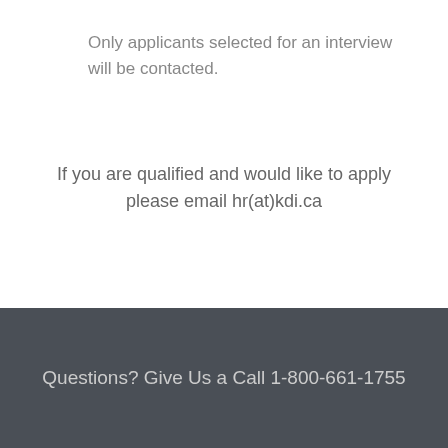Only applicants selected for an interview will be contacted.
If you are qualified and would like to apply please email hr(at)kdi.ca
Questions? Give Us a Call 1-800-661-1755